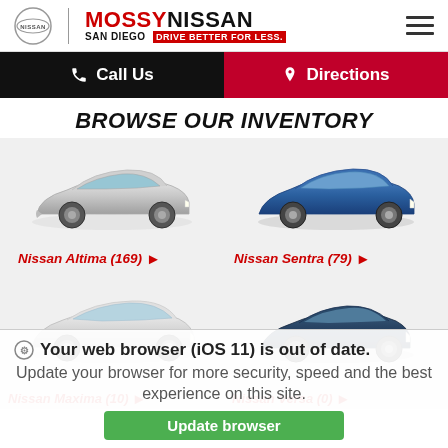[Figure (logo): Mossy Nissan San Diego dealership logo with Nissan circle emblem, red MOSSY text, black NISSAN text, and red tagline bar 'DRIVE BETTER FOR LESS']
Call Us
Directions
BROWSE OUR INVENTORY
[Figure (photo): Silver Nissan Altima side profile]
[Figure (photo): Blue Nissan Sentra side profile]
Nissan Altima (169) ▶
Nissan Sentra (79) ▶
[Figure (photo): White/Silver Nissan Maxima side profile]
[Figure (photo): Dark blue Nissan Versa side profile]
Nissan Maxima (10) ▶
Nissan Versa (0) ▶
Your web browser (iOS 11) is out of date. Update your browser for more security, speed and the best experience on this site.